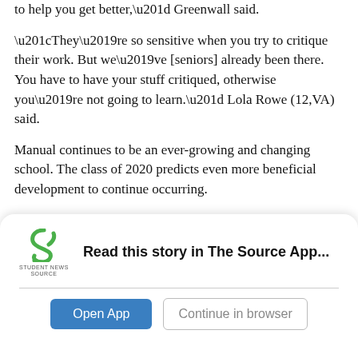“to help you get better,” Greenwall said.
“They’re so sensitive when you try to critique their work. But we’ve [seniors] already been there. You have to have your stuff critiqued, otherwise you’re not going to learn.” Lola Rowe (12,VA) said.
Manual continues to be an ever-growing and changing school. The class of 2020 predicts even more beneficial development to continue occurring.
“Of course, there’s still some things that could be changed, like things that bring everyone together so we’re not so separated, but still keeping everyone’s
[Figure (logo): Student News Source logo with green S icon and text 'STUDENT NEWS SOURCE']
Read this story in The Source App...
Open App
Continue in browser